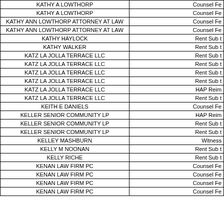| Name | Type |
| --- | --- |
| KATHY A LOWTHORP | Counsel Fe |
| KATHY A LOWTHORP | Counsel Fe |
| KATHY ANN LOWTHORP ATTORNEY AT LAW | Counsel Fe |
| KATHY ANN LOWTHORP ATTORNEY AT LAW | Counsel Fe |
| KATHY HAYLOCK | Rent Sub t |
| KATHY WALKER | Rent Sub t |
| KATZ LA JOLLA TERRACE LLC | Rent Sub t |
| KATZ LA JOLLA TERRACE LLC | Rent Sub t |
| KATZ LA JOLLA TERRACE LLC | Rent Sub t |
| KATZ LA JOLLA TERRACE LLC | Rent Sub t |
| KATZ LA JOLLA TERRACE LLC | HAP Reim |
| KATZ LA JOLLA TERRACE LLC | Rent Sub t |
| KEITH E DANIELS | Counsel Fe |
| KELLER SENIOR COMMUNITY LP | HAP Reim |
| KELLER SENIOR COMMUNITY LP | Rent Sub t |
| KELLER SENIOR COMMUNITY LP | Rent Sub t |
| KELLEY MASHBURN | Witness |
| KELLY M NOONAN | Rent Sub t |
| KELLY RICHE | Rent Sub t |
| KENAN LAW FIRM PC | Counsel Fe |
| KENAN LAW FIRM PC | Counsel Fe |
| KENAN LAW FIRM PC | Counsel Fe |
| KENAN LAW FIRM PC | Counsel Fe |